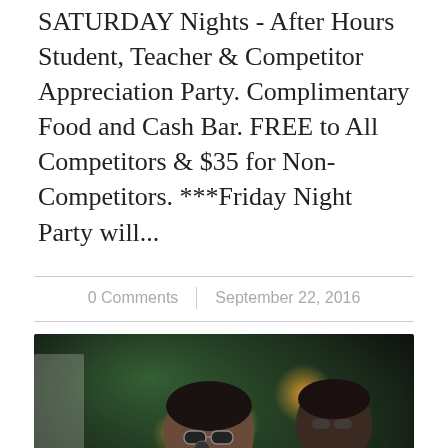SATURDAY Nights - After Hours Student, Teacher & Competitor Appreciation Party. Complimentary Food and Cash Bar. FREE to All Competitors & $35 for Non-Competitors. ***Friday Night Party will...
0 Comments | September 22, 2016
[Figure (photo): Photo of a live Latin band performer singing into a microphone with sunglasses in a dimly lit venue with green and warm lighting. Text overlay reads 'Live Latin Band' in script and 'FRIDAY NIGHT AFTER HOURS' in uppercase at the bottom.]